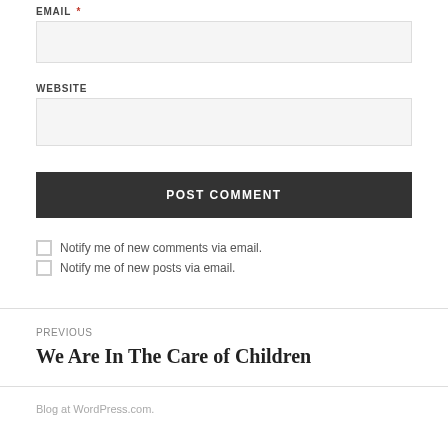EMAIL *
WEBSITE
POST COMMENT
Notify me of new comments via email.
Notify me of new posts via email.
PREVIOUS
We Are In The Care of Children
Blog at WordPress.com.